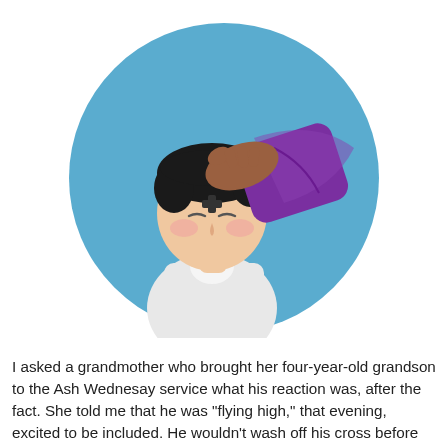[Figure (illustration): Illustration of a child with closed eyes and a cross on their forehead, receiving the Ash Wednesday blessing from a hand wearing a purple vestment sleeve, set against a blue circular background.]
I asked a grandmother who brought her four-year-old grandson to the Ash Wednesay service what his reaction was, after the fact. She told me that he was "flying high," that evening, excited to be included. He wouldn't wash off his cross before bed, assuring his grandmother that he would sleep so that it wouldn't rub off. He was disappointed the next morning because it did smear. He wanted to show the cross to his teacher and others, so they did a little mascara